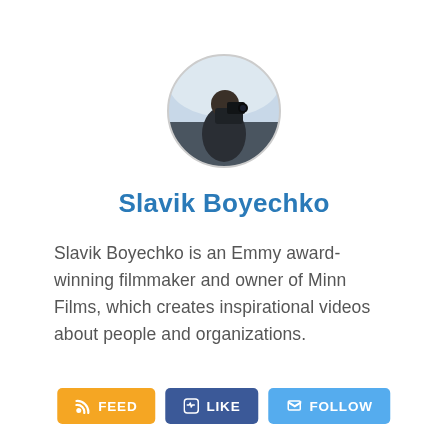[Figure (photo): Circular profile photo of Slavik Boyechko, a person holding a camera, silhouetted against a light sky background]
Slavik Boyechko
Slavik Boyechko is an Emmy award-winning filmmaker and owner of Minn Films, which creates inspirational videos about people and organizations.
FEED
LIKE
FOLLOW